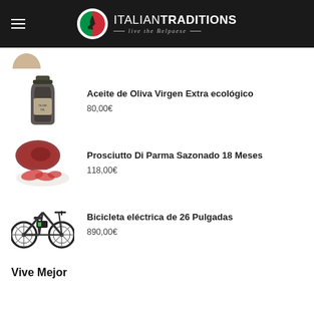ITALIAN TRADITIONS — live the Belpaese
[Figure (photo): Partial product image at top, cut off]
[Figure (photo): Dark glass bottle of olive oil]
Aceite de Oliva Virgen Extra ecológico
80,00€
[Figure (photo): Prosciutto Di Parma sliced on a plate]
Prosciutto Di Parma Sazonado 18 Meses
118,00€
[Figure (photo): Electric bicycle, black frame]
Bicicleta eléctrica de 26 Pulgadas
890,00€
Vive Mejor